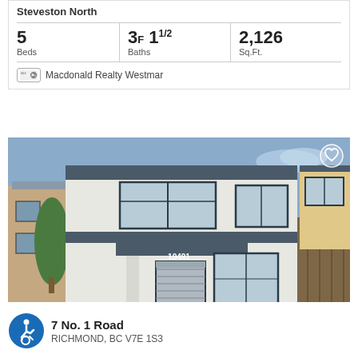Steveston North
| Beds | Baths | Sq.Ft. |
| --- | --- | --- |
| 5 | 3F 11/2 | 2,126 |
Macdonald Realty Westmar
[Figure (photo): Modern two-storey house with dark trim, address 10491, price $1,998,000, 28 photos]
7 No. 1 Road
RICHMOND, BC V7E 1S3